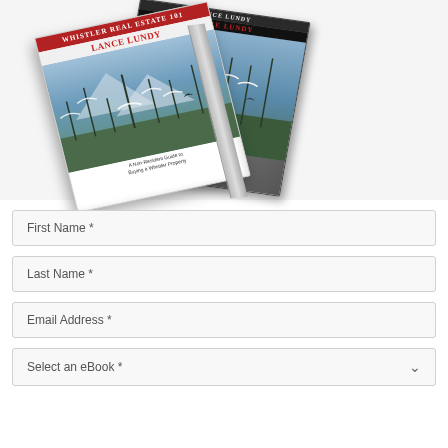[Figure (illustration): Two overlapping book covers for Lance Lundy real estate eBooks, one white cover rotated left and one dark gray cover rotated right, showing winter forest imagery and red title text 'LANCE LUNDY']
First Name *
Last Name *
Email Address *
Select an eBook *